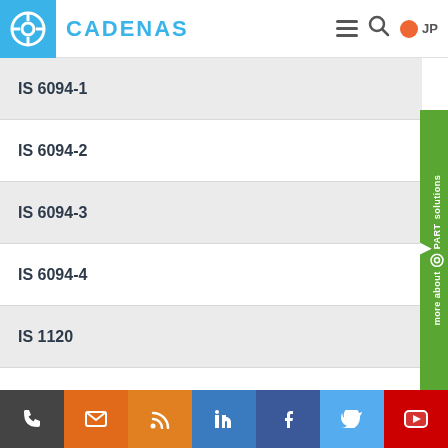CADENAS JP
IS 6094-1
IS 6094-2
IS 6094-3
IS 6094-4
IS 1120
IS 3640
IS 6639
IS 6761
IS 2014
IS 4190
IS 5624
Phone | Email | RSS | LinkedIn | Facebook | Twitter | YouTube